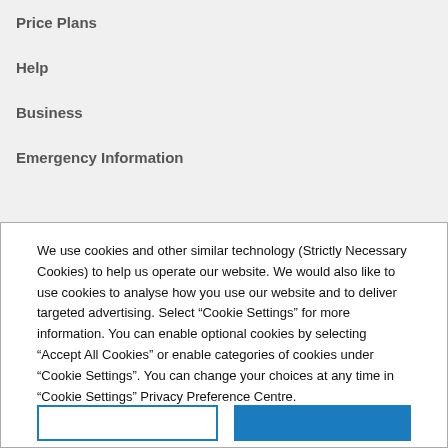Price Plans
Help
Business
Emergency Information
We use cookies and other similar technology (Strictly Necessary Cookies) to help us operate our website. We would also like to use cookies to analyse how you use our website and to deliver targeted advertising. Select “Cookie Settings” for more information. You can enable optional cookies by selecting “Accept All Cookies” or enable categories of cookies under “Cookie Settings”. You can change your choices at any time in “Cookie Settings” Privacy Preference Centre.